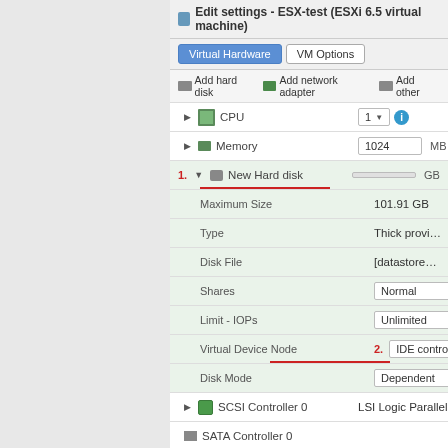Edit settings - ESX-test (ESXi 6.5 virtual machine)
Virtual Hardware | VM Options
Add hard disk   Add network adapter   Add other
| Property | Value |
| --- | --- |
| CPU | 1 |
| Memory | 1024 MB |
| New Hard disk |  |
| Maximum Size | 101.91 GB |
| Type | Thick provisioned, la... |
| Disk File | [datastore1] test-imag... |
| Shares | Normal |
| Limit - IOPs | Unlimited |
| Virtual Device Node | IDE controller 0 |
| Disk Mode | Dependent |
| SCSI Controller 0 | LSI Logic Parallel |
| SATA Controller 0 |  |
| USB controller 1 | USB 2.0 |